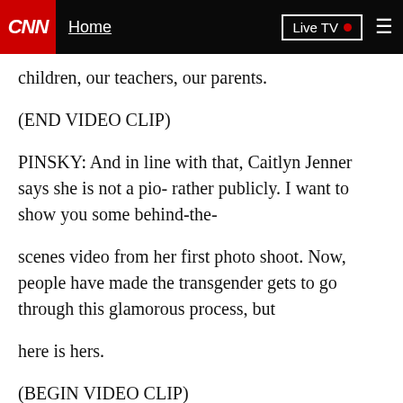CNN Home Live TV
children, our teachers, our parents.
(END VIDEO CLIP)
PINSKY: And in line with that, Caitlyn Jenner says she is not a pio- rather publicly. I want to show you some behind-the-
scenes video from her first photo shoot. Now, people have made the transgender gets to go through this glamorous process, but
here is hers.
(BEGIN VIDEO CLIP)